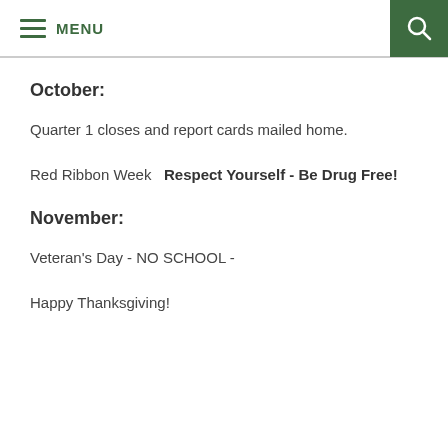MENU
October:
Quarter 1 closes and report cards mailed home.
Red Ribbon Week   Respect Yourself - Be Drug Free!
November:
Veteran's Day - NO SCHOOL -
Happy Thanksgiving!